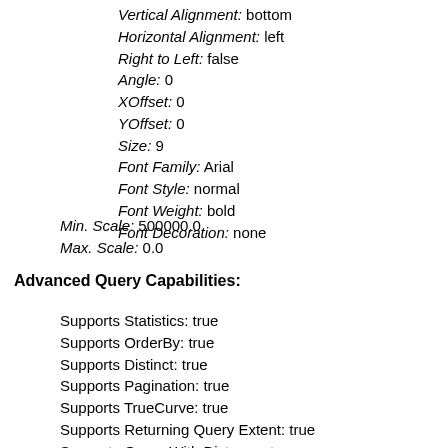Vertical Alignment: bottom
Horizontal Alignment: left
Right to Left: false
Angle: 0
XOffset: 0
YOffset: 0
Size: 9
Font Family: Arial
Font Style: normal
Font Weight: bold
Font Decoration: none
Min. Scale: 500000.0
Max. Scale: 0.0
Advanced Query Capabilities:
Supports Statistics: true
Supports OrderBy: true
Supports Distinct: true
Supports Pagination: true
Supports TrueCurve: true
Supports Returning Query Extent: true
Supports Query With Distance: true
Supports Sql Expression: true
Supports Query With ResultType: false
Supports Returning Geometry Centroid: false